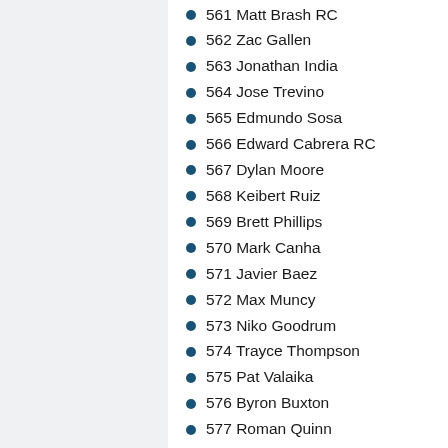561 Matt Brash RC
562 Zac Gallen
563 Jonathan India
564 Jose Trevino
565 Edmundo Sosa
566 Edward Cabrera RC
567 Dylan Moore
568 Keibert Ruiz
569 Brett Phillips
570 Mark Canha
571 Javier Baez
572 Max Muncy
573 Niko Goodrum
574 Trayce Thompson
575 Pat Valaika
576 Byron Buxton
577 Roman Quinn
578 Dylan Carlson